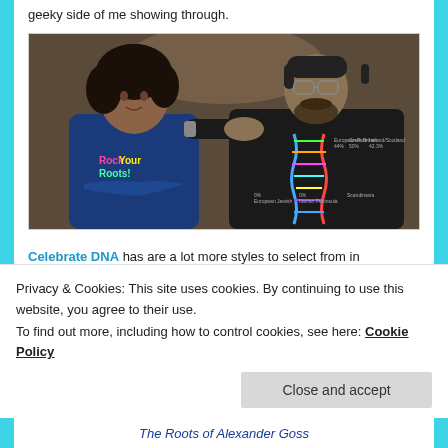I particularly like my deoxyribonucleic acid t-shirt. I know, that's the geeky side of me showing through.
[Figure (photo): Photo of two people wearing DNA/roots themed t-shirts. A woman wearing a 'Rock Your Roots!' blue t-shirt with a world map design, and a man wearing a black t-shirt with a colorful DNA double helix graphic.]
Celebrate DNA has are a lot more styles to select from in
Privacy & Cookies: This site uses cookies. By continuing to use this website, you agree to their use.
To find out more, including how to control cookies, see here: Cookie Policy
Close and accept
The Roots of Alexander Goss